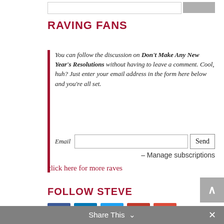RAVING FANS
You can follow the discussion on Don't Make Any New Year's Resolutions without having to leave a comment. Cool, huh? Just enter your email address in the form here below and you're all set.
Email  [input]  Send
– Manage subscriptions
click here for more raves
FOLLOW STEVE
[Figure (infographic): Social media icons: Facebook, LinkedIn, Twitter, YouTube, Google+]
Share This  ∨  ×
RECENT POSTS